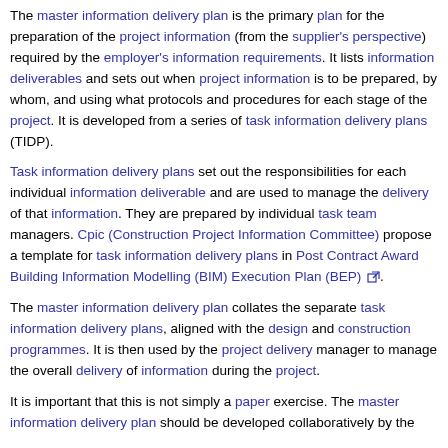The master information delivery plan is the primary plan for the preparation of the project information (from the supplier's perspective) required by the employer's information requirements. It lists information deliverables and sets out when project information is to be prepared, by whom, and using what protocols and procedures for each stage of the project. It is developed from a series of task information delivery plans (TIDP).
Task information delivery plans set out the responsibilities for each individual information deliverable and are used to manage the delivery of that information. They are prepared by individual task team managers. Cpic (Construction Project Information Committee) propose a template for task information delivery plans in Post Contract Award Building Information Modelling (BIM) Execution Plan (BEP) [external link].
The master information delivery plan collates the separate task information delivery plans, aligned with the design and construction programmes. It is then used by the project delivery manager to manage the overall delivery of information during the project.
It is important that this is not simply a paper exercise. The master information delivery plan should be developed collaboratively by the